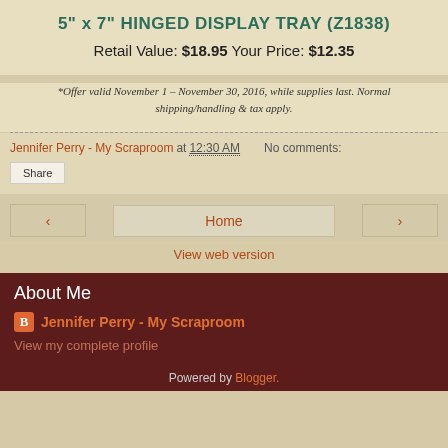5" x 7" HINGED DISPLAY TRAY (Z1838)
Retail Value: $18.95 Your Price: $12.35
*Offer valid November 1 – November 30, 2016, while supplies last. Normal shipping/handling & tax apply.
Jennifer Perry - My Scraproom at 12:30 AM   No comments:
Share
< Home >
View web version
About Me
Jennifer Perry - My Scraproom
View my complete profile
Powered by Blogger.